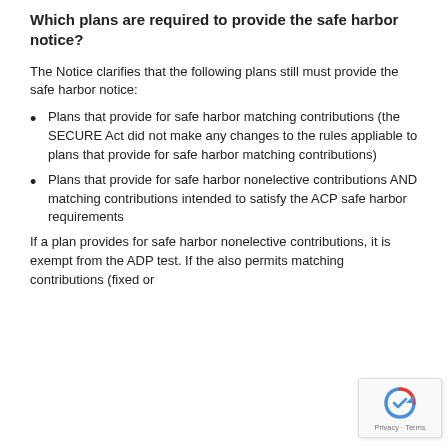Which plans are required to provide the safe harbor notice?
The Notice clarifies that the following plans still must provide the safe harbor notice:
Plans that provide for safe harbor matching contributions (the SECURE Act did not make any changes to the rules appliable to plans that provide for safe harbor matching contributions)
Plans that provide for safe harbor nonelective contributions AND matching contributions intended to satisfy the ACP safe harbor requirements
If a plan provides for safe harbor nonelective contributions, it is exempt from the ADP test. If the also permits matching contributions (fixed or